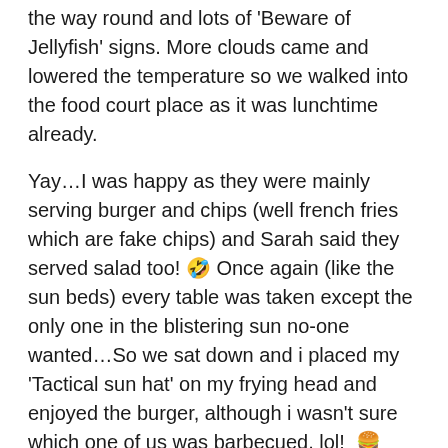the way round and lots of 'Beware of Jellyfish' signs. More clouds came and lowered the temperature so we walked into the food court place as it was lunchtime already.
Yay…I was happy as they were mainly serving burger and chips (well french fries which are fake chips) and Sarah said they served salad too! 🤣 Once again (like the sun beds) every table was taken except the only one in the blistering sun no-one wanted…So we sat down and i placed my 'Tactical sun hat' on my frying head and enjoyed the burger, although i wasn't sure which one of us was barbecued, lol! 🍔 ☀️ 😀
"HOWDY" the man said whilst walking past, i said to Sarah "I don't have to ask who that was as his accent is fantastic" as we waved in his general direction. As Sarah and i can't make eye contact it's almost impossible to make friends or start a conversation unless people came over to us. So